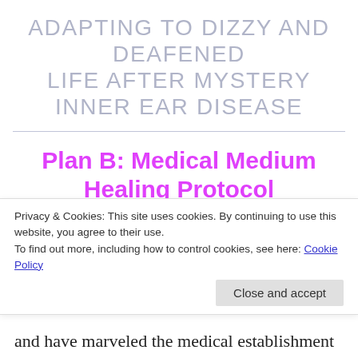ADAPTING TO DIZZY AND DEAFENED LIFE AFTER MYSTERY INNER EAR DISEASE
Plan B: Medical Medium Healing Protocol
Its been a while since I posted about my self-healing techniques and I wanted to update you on my new approach which I'm enthusiastically
Privacy & Cookies: This site uses cookies. By continuing to use this website, you agree to their use. To find out more, including how to control cookies, see here: Cookie Policy
Close and accept
and have marveled the medical establishment